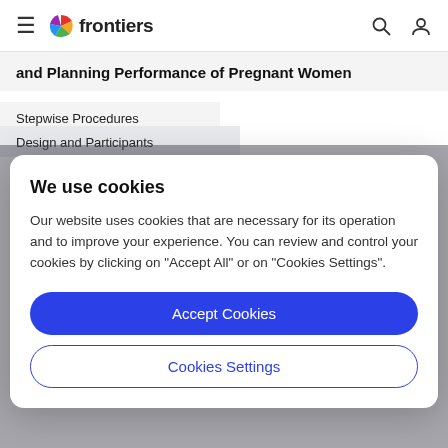frontiers
and Planning Performance of Pregnant Women
Stepwise Procedures
Design and Participants
We use cookies
Our website uses cookies that are necessary for its operation and to improve your experience. You can review and control your cookies by clicking on "Accept All" or on "Cookies Settings".
Accept Cookies
Cookies Settings